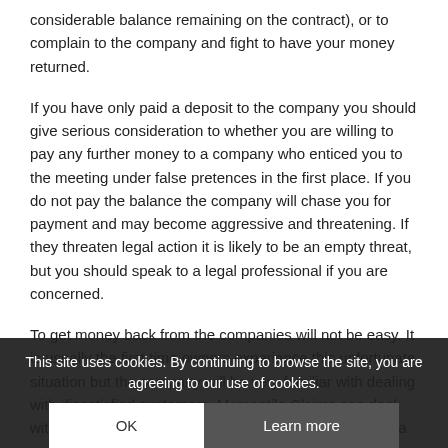considerable balance remaining on the contract), or to complain to the company and fight to have your money returned.
If you have only paid a deposit to the company you should give serious consideration to whether you are willing to pay any further money to a company who enticed you to the meeting under false pretences in the first place. If you do not pay the balance the company will chase you for payment and may become aggressive and threatening. If they threaten legal action it is likely to be an empty threat, but you should speak to a legal professional if you are concerned.
To get money back from the companies will not be easy. It is usually the first time owners experience this unfortunate situation but the company will be very familiar with dealing with dissatisfied customers. Mercantile Claims can deal with any timeshare claims on your behalf and there are a number of things you can try if you
If the company has your credit/debit card details you should contact your cred... other advice on whether it is nece... your card.
This site uses cookies. By continuing to browse the site, you are agreeing to our use of cookies.